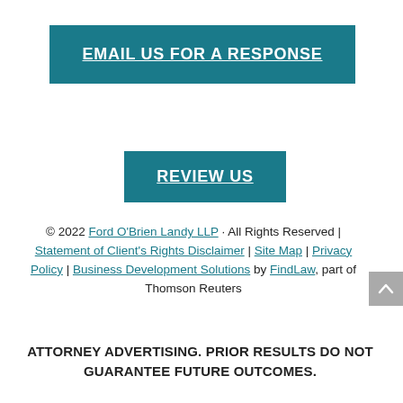EMAIL US FOR A RESPONSE
REVIEW US
© 2022 Ford O'Brien Landy LLP · All Rights Reserved | Statement of Client's Rights Disclaimer | Site Map | Privacy Policy | Business Development Solutions by FindLaw, part of Thomson Reuters
ATTORNEY ADVERTISING. PRIOR RESULTS DO NOT GUARANTEE FUTURE OUTCOMES.